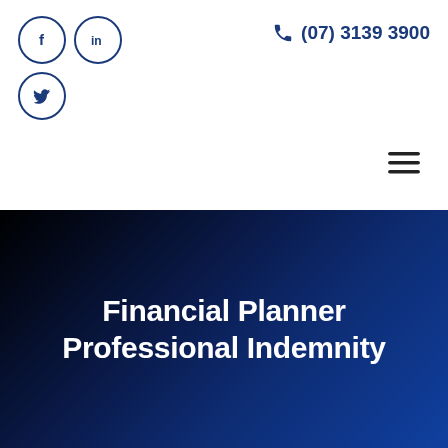[Figure (logo): Social media icons: Facebook (f), LinkedIn (in), and Twitter (bird) in dark blue circle outlines, top-left header area]
(07) 3139 3900
[Figure (other): Hamburger menu icon (three horizontal lines) in the upper right area]
Financial Planner Professional Indemnity